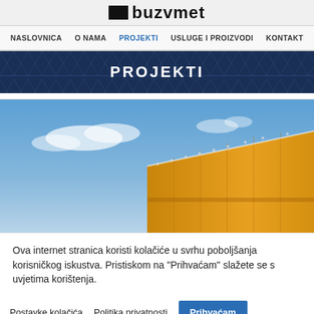buzvmet
NASLOVNICA  O NAMA  PROJEKTI  USLUGE I PROIZVODI  KONTAKT
PROJEKTI
[Figure (photo): Exterior photo of a yellow/golden metal cladded building facade against a blue sky with clouds]
Ova internet stranica koristi kolačiće u svrhu poboljšanja korisničkog iskustva. Pristiskom na "Prihvaćam" slažete se s uvjetima korištenja.
Postavke kolačića  Politika privatnosti  Prihvaćam